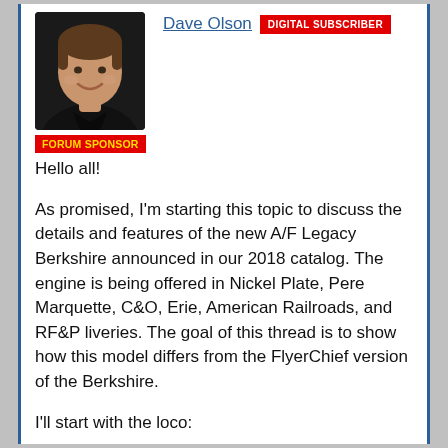[Figure (photo): Profile photo of Dave Olson, a smiling person with short hair wearing a dark shirt, circular/portrait style photo with dark background]
Dave Olson  DIGITAL SUBSCRIBER
FORUM SPONSOR
Hello all!
As promised, I'm starting this topic to discuss the details and features of the new A/F Legacy Berkshire announced in our 2018 catalog. The engine is being offered in Nickel Plate, Pere Marquette, C&O, Erie, American Railroads, and RF&P liveries. The goal of this thread is to show how this model differs from the FlyerChief version of the Berkshire.
I'll start with the loco:
There will be two different headlight variations